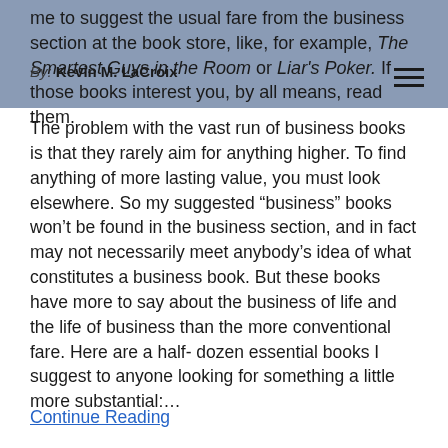me to suggest the usual fare from the business section at the book store, like, for example, The Smartest Guys in the Room or Liar's Poker. If those books interest you, by all means, read them.
By: Kevin M. LaCroix
The problem with the vast run of business books is that they rarely aim for anything higher. To find anything of more lasting value, you must look elsewhere. So my suggested “business” books won’t be found in the business section, and in fact may not necessarily meet anybody’s idea of what constitutes a business book. But these books have more to say about the business of life and the life of business than the more conventional fare. Here are a half- dozen essential books I suggest to anyone looking for something a little more substantial:…
Continue Reading